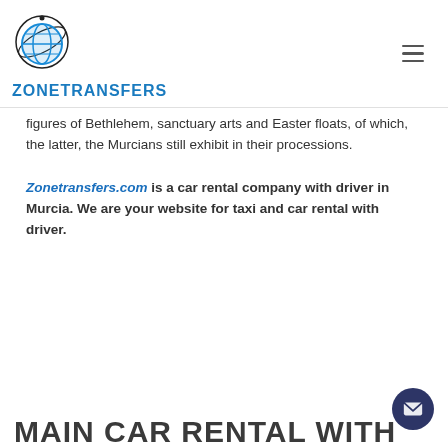ZONETRANSFERS
figures of Bethlehem, sanctuary arts and Easter floats, of which, the latter, the Murcians still exhibit in their processions.
Zonetransfers.com is a car rental company with driver in Murcia. We are your website for taxi and car rental with driver.
MAIN CAR RENTAL WITH